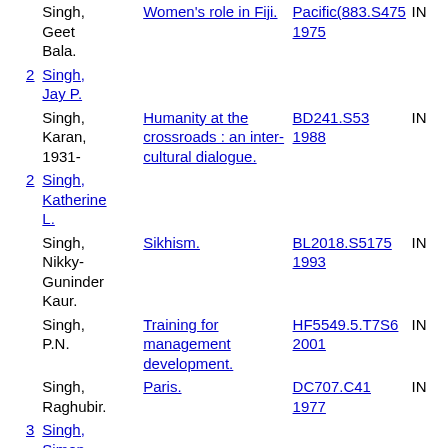| # | Author | Title | Call Number | Status |
| --- | --- | --- | --- | --- |
|  | Singh, Geet Bala. | Women's role in Fiji. | Pacific(883.S475 1975 | IN |
| 2 | Singh, Jay P. |  |  |  |
|  | Singh, Karan, 1931- | Humanity at the crossroads : an inter-cultural dialogue. | BD241.S53 1988 | IN |
| 2 | Singh, Katherine L. |  |  |  |
|  | Singh, Nikky-Guninder Kaur. | Sikhism. | BL2018.S5175 1993 | IN |
|  | Singh, P.N. | Training for management development. | HF5549.5.T7S6 2001 | IN |
|  | Singh, Raghubir. | Paris. | DC707.C41 1977 | IN |
| 3 | Singh, Simon. |  |  |  |
|  | Singh, | The river goddess. | CRC BS539.S56 | IN |